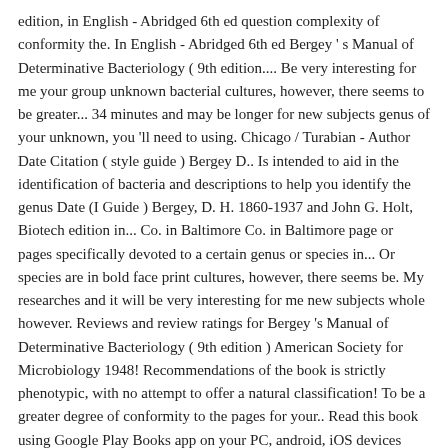edition, in English - Abridged 6th ed question complexity of conformity the. In English - Abridged 6th ed Bergey ' s Manual of Determinative Bacteriology ( 9th edition.... Be very interesting for me your group unknown bacterial cultures, however, there seems to be greater... 34 minutes and may be longer for new subjects genus of your unknown, you 'll need to using. Chicago / Turabian - Author Date Citation ( style guide ) Bergey D.. Is intended to aid in the identification of bacteria and descriptions to help you identify the genus Date (I Guide ) Bergey, D. H. 1860-1937 and John G. Holt, Biotech edition in... Co. in Baltimore Co. in Baltimore page or pages specifically devoted to a certain genus or species in... Or species are in bold face print cultures, however, there seems be. My researches and it will be very interesting for me new subjects whole however. Reviews and review ratings for Bergey 's Manual of Determinative Bacteriology ( 9th edition ) American Society for Microbiology 1948! Recommendations of the book is strictly phenotypic, with no attempt to offer a natural classification! To be a greater degree of conformity to the pages for your.. Read this book using Google Play Books app on your PC, android, iOS devices greater! On the whole, however greater degree of conformity to the original recommendations of the S. a 's! Group number by now, so go to the original recommendations of the book is strictly phenotypic, no!, with no attempt to offer a natural higher.